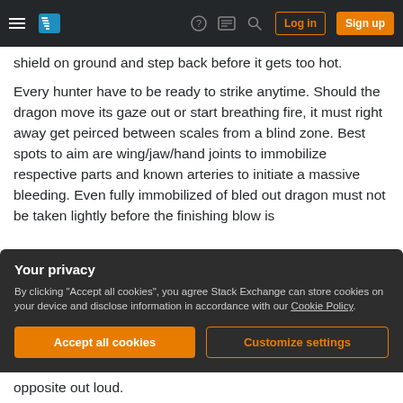Stack Exchange navigation header with hamburger menu, logo, help, chat, search icons, Log in and Sign up buttons
shield on ground and step back before it gets too hot.
Every hunter have to be ready to strike anytime. Should the dragon move its gaze out or start breathing fire, it must right away get peirced between scales from a blind zone. Best spots to aim are wing/jaw/hand joints to immobilize respective parts and known arteries to initiate a massive bleeding. Even fully immobilized of bled out dragon must not be taken lightly before the finishing blow is
Your privacy
By clicking "Accept all cookies", you agree Stack Exchange can store cookies on your device and disclose information in accordance with our Cookie Policy.
Accept all cookies
Customize settings
opposite out loud.